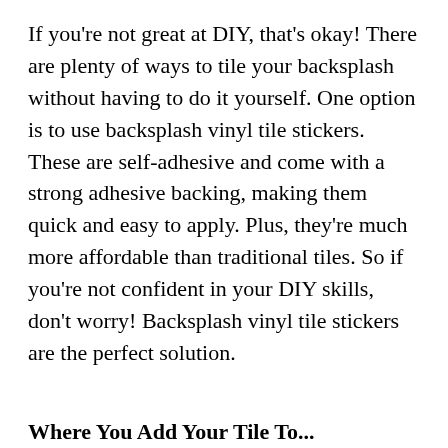If you're not great at DIY, that's okay! There are plenty of ways to tile your backsplash without having to do it yourself. One option is to use backsplash vinyl tile stickers. These are self-adhesive and come with a strong adhesive backing, making them quick and easy to apply. Plus, they're much more affordable than traditional tiles. So if you're not confident in your DIY skills, don't worry! Backsplash vinyl tile stickers are the perfect solution.
Where You Add Your Tile To...